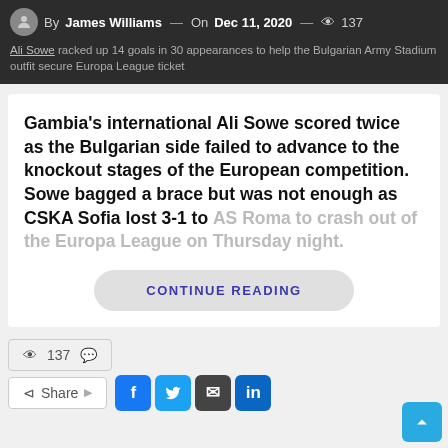By James Williams — On Dec 11, 2020 — 137
Ali Sowe racked up 14 goals in 30 appearances to help the Bulgarian Army Stadium outfit secure Europa League ticket
Gambia's international Ali Sowe scored twice as the Bulgarian side failed to advance to the knockout stages of the European competition. Sowe bagged a brace but was not enough as CSKA Sofia lost 3-1 to AS Roma to crash out of the Europa League on Thursday night.
CONTINUE READING
137
Share